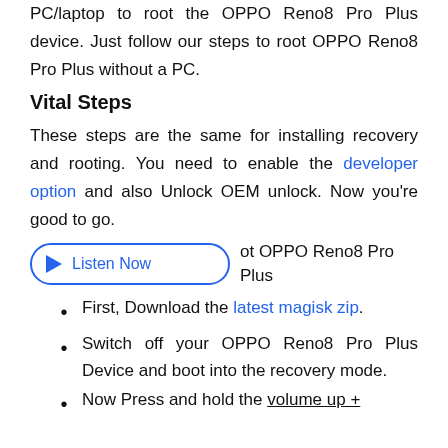PC/laptop to root the OPPO Reno8 Pro Plus device. Just follow our steps to root OPPO Reno8 Pro Plus without a PC.
Vital Steps
These steps are the same for installing recovery and rooting. You need to enable the developer option and also Unlock OEM unlock. Now you're good to go.
[Figure (other): Listen Now audio player button with play icon]
ot OPPO Reno8 Pro Plus
First, Download the latest magisk zip.
Switch off your OPPO Reno8 Pro Plus Device and boot into the recovery mode.
Now Press and hold the volume up +